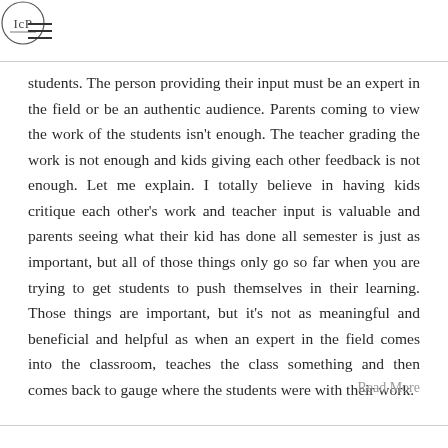TCP logo and navigation
students. The person providing their input must be an expert in the field or be an authentic audience. Parents coming to view the work of the students isn't enough. The teacher grading the work is not enough and kids giving each other feedback is not enough. Let me explain. I totally believe in having kids critique each other's work and teacher input is valuable and parents seeing what their kid has done all semester is just as important, but all of those things only go so far when you are trying to get students to push themselves in their learning. Those things are important, but it's not as meaningful and beneficial and helpful as when an expert in the field comes into the classroom, teaches the class something and then comes back to gauge where the students were with their work.
Read More